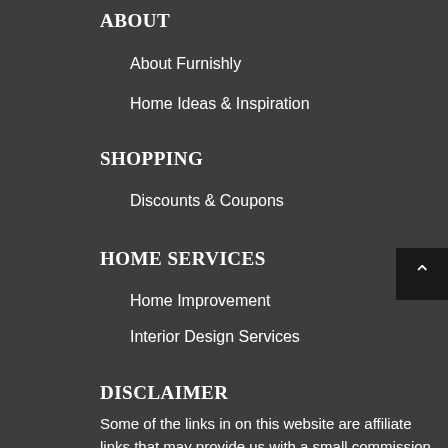ABOUT
About Furnishly
Home Ideas & Inspiration
SHOPPING
Discounts & Coupons
HOME SERVICES
Home Improvement
Interior Design Services
DISCLAIMER
Some of the links in on this website are affiliate links that may provide us with a small commission at no cost to you. However, we have vetted every link to